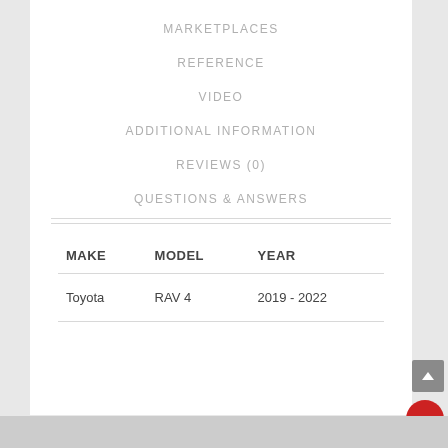MARKETPLACES
REFERENCE
VIDEO
ADDITIONAL INFORMATION
REVIEWS (0)
QUESTIONS & ANSWERS
| MAKE | MODEL | YEAR |
| --- | --- | --- |
| Toyota | RAV 4 | 2019 - 2022 |